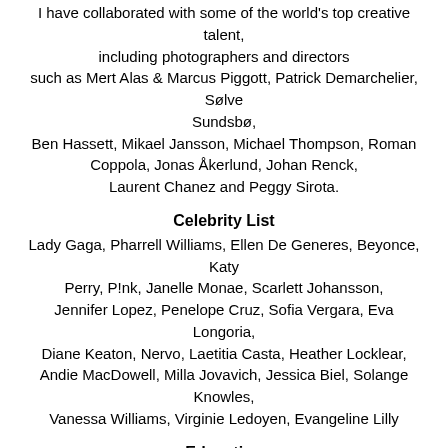I have collaborated with some of the world's top creative talent, including photographers and directors such as Mert Alas & Marcus Piggott, Patrick Demarchelier, Sølve Sundsbø, Ben Hassett, Mikael Jansson, Michael Thompson, Roman Coppola, Jonas Åkerlund, Johan Renck, Laurent Chanez and Peggy Sirota.
Celebrity List
Lady Gaga, Pharrell Williams, Ellen De Generes, Beyonce, Katy Perry, P!nk, Janelle Monae, Scarlett Johansson, Jennifer Lopez, Penelope Cruz, Sofia Vergara, Eva Longoria, Diane Keaton, Nervo, Laetitia Casta, Heather Locklear, Andie MacDowell, Milla Jovavich, Jessica Biel, Solange Knowles, Vanessa Williams, Virginie Ledoyen, Evangeline Lilly
Education
University College of Arts, Crafts and Design, Stockholm Sweden Master of Fine Arts in Graphic Design and Illustration